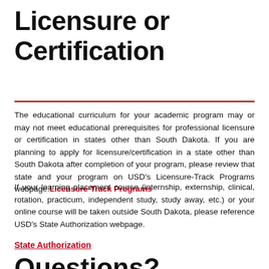Licensure or Certification
The educational curriculum for your academic program may or may not meet educational prerequisites for professional licensure or certification in states other than South Dakota. If you are planning to apply for licensure/certification in a state other than South Dakota after completion of your program, please review that state and your program on USD's Licensure-Track Programs webpage. Licensure-Track Programs
If your learning placement course (internship, externship, clinical, rotation, practicum, independent study, study away, etc.) or your online course will be taken outside South Dakota, please reference USD's State Authorization webpage.
State Authorization
Questions?